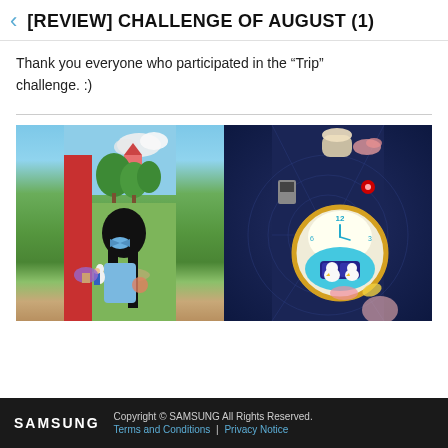[REVIEW] CHALLENGE OF AUGUST (1)
Thank you everyone who participated in the “Trip” challenge. :)
[Figure (illustration): Split composite illustration: left half shows an anime-style girl with black hair and a blue bow viewed from behind, looking at a colorful amusement park scene with trees, tents, and a castle; right half shows a cartoon-style round robot/device that resembles a clock face with the number 12 visible, teal/cyan colors, sitting in a dark blue space-like background with various floating objects.]
SAMSUNG  Copyright © SAMSUNG All Rights Reserved. Terms and Conditions | Privacy Notice